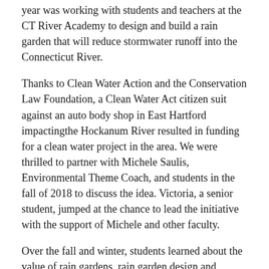year was working with students and teachers at the CT River Academy to design and build a rain garden that will reduce stormwater runoff into the Connecticut River.
Thanks to Clean Water Action and the Conservation Law Foundation, a Clean Water Act citizen suit against an auto body shop in East Hartford impactingthe Hockanum River resulted in funding for a clean water project in the area. We were thrilled to partner with Michele Saulis, Environmental Theme Coach, and students in the fall of 2018 to discuss the idea. Victoria, a senior student, jumped at the chance to lead the initiative with the support of Michele and other faculty.
Over the fall and winter, students learned about the value of rain gardens, rain garden design and participated in a trip to UCONN to learn more from a leading environmental professor on the importance of design, drainage, types of plants and all the engineering that goes into an effective rain garden.
In late winter and early spring, appropriate sites for the garden were identified and Victoria and the students met with planning officials at the school and in the town of East Hartford to obtain the necessary